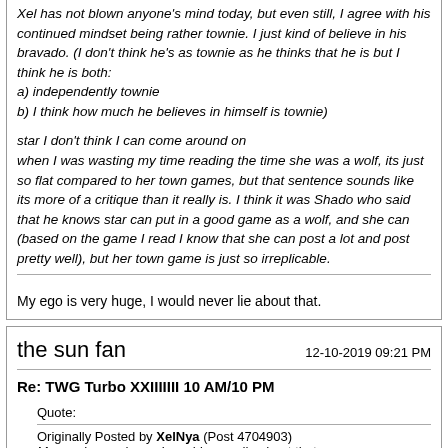Xel has not blown anyone's mind today, but even still, I agree with his continued mindset being rather townie. I just kind of believe in his bravado. (I don't think he's as townie as he thinks that he is but I think he is both:
a) independently townie
b) I think how much he believes in himself is townie)

star I don't think I can come around on
when I was wasting my time reading the time she was a wolf, its just so flat compared to her town games, but that sentence sounds like its more of a critique than it really is. I think it was Shado who said that he knows star can put in a good game as a wolf, and she can (based on the game I read I know that she can post a lot and post pretty well), but her town game is just so irreplicable.
My ego is very huge, I would never lie about that.
the sun fan
12-10-2019 09:21 PM
Re: TWG Turbo XXIIIIIII 10 AM/10 PM
Quote:
Originally Posted by XelNya (Post 4704903)
My ego is very huge, I would never lie about that.